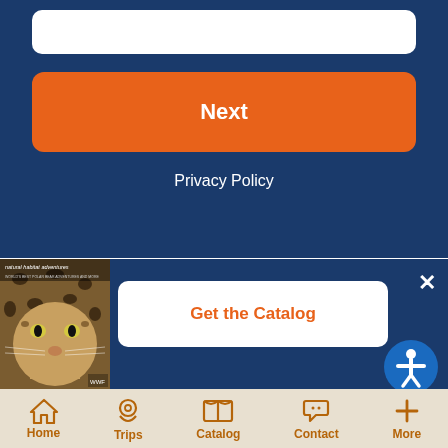[Figure (screenshot): White input field on dark blue background]
Next
Privacy Policy
[Figure (photo): Catalog cover with leopard face and text 'natural habitat adventures']
Get the Catalog
×
[Figure (illustration): Accessibility icon - person in circle]
Home
Trips
Catalog
Contact
More